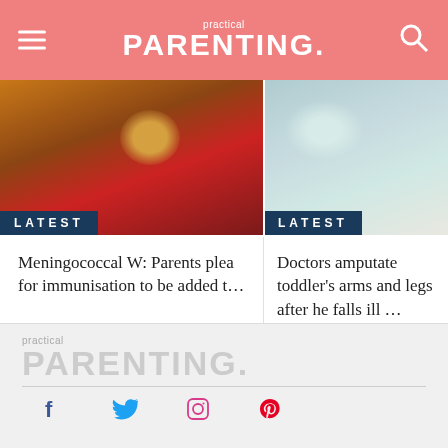practical PARENTING.
[Figure (photo): Left article image showing a child with curly hair wearing a red shirt with yellow star, with a LATEST badge overlay]
[Figure (photo): Right article image showing a toddler in a medical/hospital setting with tubes, with a LATEST badge overlay]
Meningococcal W: Parents plea for immunisation to be added t...
Doctors amputate toddler's arms and legs after he falls ill ...
practical PARENTING.